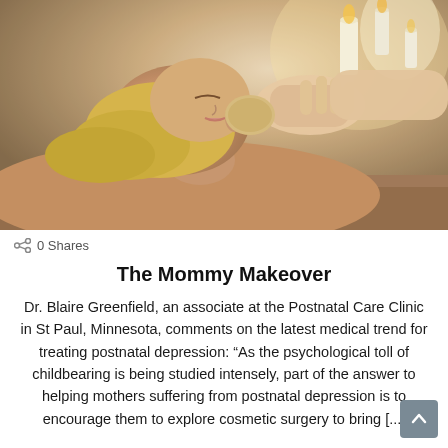[Figure (photo): A woman lying down receiving a facial or spa treatment. A hand holds a sponge or applicator to her head. Candles are visible in the background. Warm, soft lighting suggests a spa or wellness setting.]
0 Shares
The Mommy Makeover
Dr. Blaire Greenfield, an associate at the Postnatal Care Clinic in St Paul, Minnesota, comments on the latest medical trend for treating postnatal depression: “As the psychological toll of childbearing is being studied intensely, part of the answer to helping mothers suffering from postnatal depression is to encourage them to explore cosmetic surgery to bring [...]